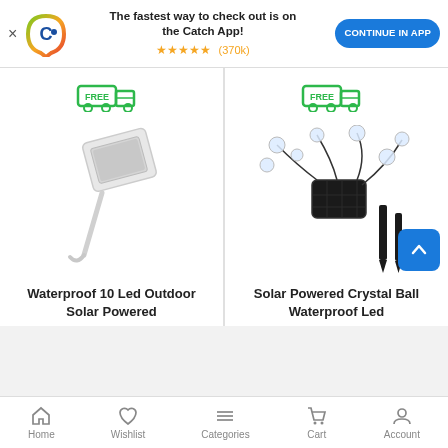The fastest way to check out is on the Catch App! ★★★★★ (370k) CONTINUE IN APP
[Figure (illustration): Free shipping badge icon (green truck with FREE label)]
[Figure (illustration): Free shipping badge icon (green truck with FREE label)]
[Figure (photo): Waterproof 10 Led Outdoor Solar Powered light product image - white solar panel on stake]
Waterproof 10 Led Outdoor Solar Powered
[Figure (photo): Solar Powered Crystal Ball Waterproof Led string lights product image with solar panel and stakes]
Solar Powered Crystal Ball Waterproof Led
Home  Wishlist  Categories  Cart  Account